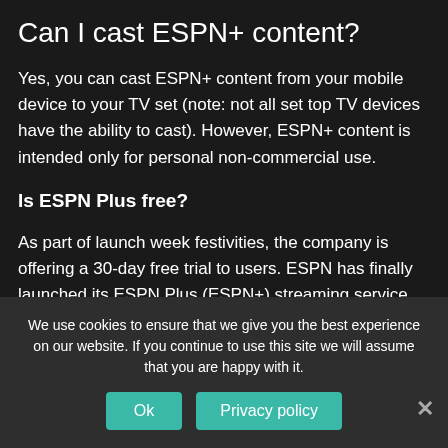Can I cast ESPN+ content?
Yes, you can cast ESPN+ content from your mobile device to your TV set (note: not all set top TV devices have the ability to cast). However, ESPN+ content is intended only for personal non-commercial use.
Is ESPN Plus free?
As part of launch week festivities, the company is offering a 30-day free trial to users. ESPN has finally launched its ESPN Plus (ESPN+) streaming service, giving users a way to watch sports without having a cable TV subscription. The service arrived in an update to the ESPN app that also included a design overhaul.
We use cookies to ensure that we give you the best experience on our website. If you continue to use this site we will assume that you are happy with it.